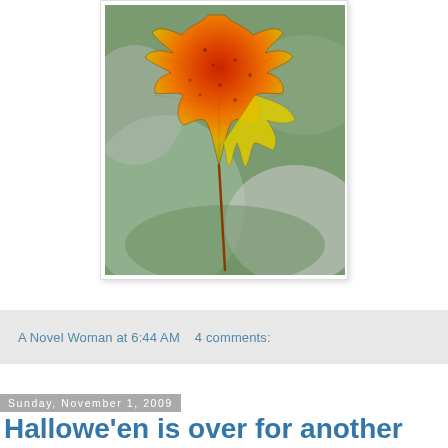[Figure (photo): Close-up photograph of an autumn maple leaf with vivid red, orange, and yellow colors against a blurred green and grey background]
A Novel Woman at 6:44 AM   4 comments:
Sunday, November 1, 2009
Hallowe'en is over for another year